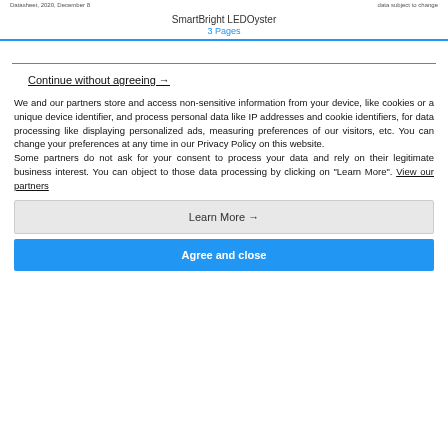Datasheet, 2020, December 8 | data subject to change
SmartBright LEDOyster
3 Pages
Continue without agreeing →
We and our partners store and access non-sensitive information from your device, like cookies or a unique device identifier, and process personal data like IP addresses and cookie identifiers, for data processing like displaying personalized ads, measuring preferences of our visitors, etc. You can change your preferences at any time in our Privacy Policy on this website.
Some partners do not ask for your consent to process your data and rely on their legitimate business interest. You can object to those data processing by clicking on "Learn More". View our partners
Learn More →
Agree and close